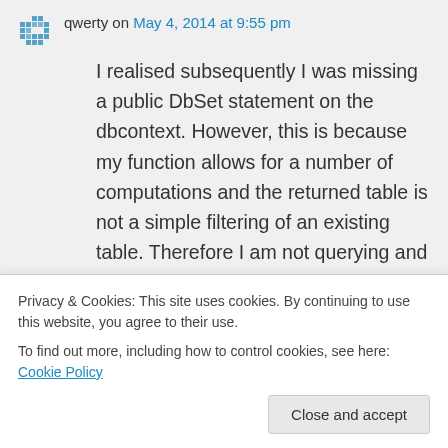qwerty on May 4, 2014 at 9:55 pm
I realised subsequently I was missing a public DbSet statement on the dbcontext. However, this is because my function allows for a number of computations and the returned table is not a simple filtering of an existing table. Therefore I am not querying and mapping to but rather querying any number of entities and returning a function(...)",paramters[]) may be
Privacy & Cookies: This site uses cookies. By continuing to use this website, you agree to their use.
To find out more, including how to control cookies, see here: Cookie Policy
Close and accept